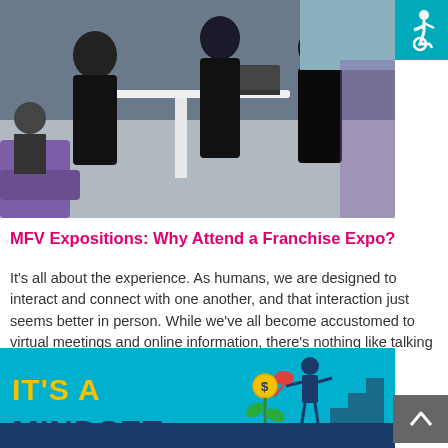[Figure (photo): Photo of people at a franchise expo event, standing around a white table with a laptop, in a conference/exhibition setting with purple chairs visible]
[Figure (logo): Accessibility icon (wheelchair user symbol) on teal/cyan background, top right corner]
MFV Expositions: Why Attend a Franchise Expo?
It's all about the experience. As humans, we are designed to interact and connect with one another, and that interaction just seems better in person. While we've all become accustomed to virtual meetings and online information, there's nothing like talking with someone face-to-face. By Shelia Fischer
[Figure (illustration): Illustrated banner with teal background showing text 'IT'S A MINDSET' in yellow and blue bold letters, with a figure of a businessman watering a plant with a coin/dollar symbol growing from it]